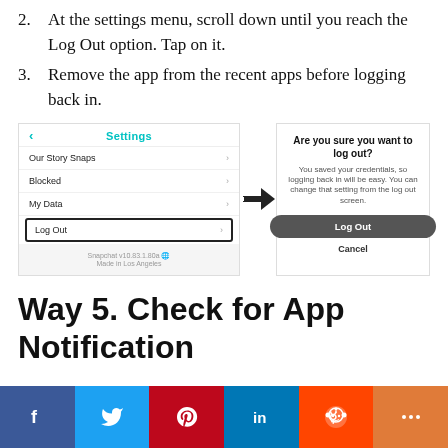2. At the settings menu, scroll down until you reach the Log Out option. Tap on it.
3. Remove the app from the recent apps before logging back in.
[Figure (screenshot): Two smartphone screenshots side by side: left shows Snapchat Settings screen with 'Log Out' highlighted, right shows a 'Are you sure you want to log out?' dialog with a Log Out button and Cancel option. A black arrow points from the left to right screen.]
Way 5. Check for App Notification
[Figure (infographic): Social media sharing bar with Facebook, Twitter, Pinterest, LinkedIn, Reddit, and More buttons]